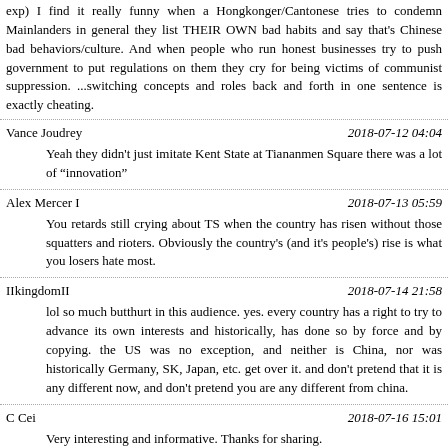exp) I find it really funny when a Hongkonger/Cantonese tries to condemn Mainlanders in general they list THEIR OWN bad habits and say that's Chinese bad behaviors/culture. And when people who run honest businesses try to push government to put regulations on them they cry for being victims of communist suppression. ...switching concepts and roles back and forth in one sentence is exactly cheating.
Vance Joudrey | 2018-07-12 04:04
Yeah they didn't just imitate Kent State at Tiananmen Square there was a lot of “innovation”
Alex Mercer I | 2018-07-13 05:59
You retards still crying about TS when the country has risen without those squatters and rioters. Obviously the country's (and it's people's) rise is what you losers hate most.
IIkingdomII | 2018-07-14 21:58
lol so much butthurt in this audience. yes. every country has a right to try to advance its own interests and historically, has done so by force and by copying. the US was no exception, and neither is China, nor was historically Germany, SK, Japan, etc. get over it. and don't pretend that it is any different now, and don't pretend you are any different from china.
C Cei | 2018-07-16 15:01
Very interesting and informative. Thanks for sharing.
Bob Quigley | 2018-07-18 10:37